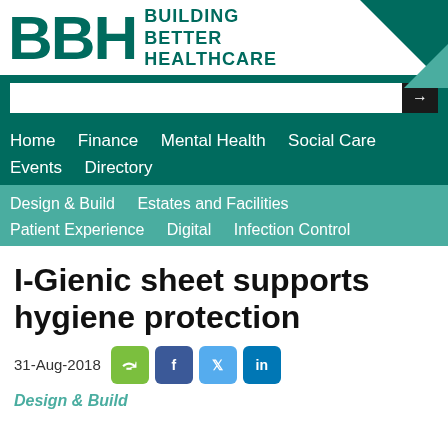[Figure (logo): BBH Building Better Healthcare logo with teal triangle decoration]
Home   Finance   Mental Health   Social Care   Events   Directory
Design & Build   Estates and Facilities   Patient Experience   Digital   Infection Control
I-Gienic sheet supports hygiene protection
31-Aug-2018
Design & Build